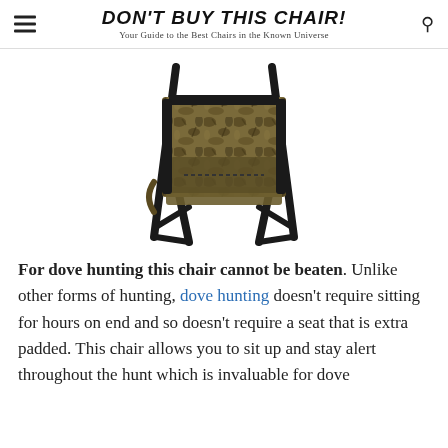DON'T BUY THIS CHAIR! Your Guide to the Best Chairs in the Known Universe
[Figure (photo): A folding hunting chair with camouflage fabric seat and back, dark metal frame, photographed on white background.]
For dove hunting this chair cannot be beaten. Unlike other forms of hunting, dove hunting doesn't require sitting for hours on end and so doesn't require a seat that is extra padded. This chair allows you to sit up and stay alert throughout the hunt which is invaluable for dove